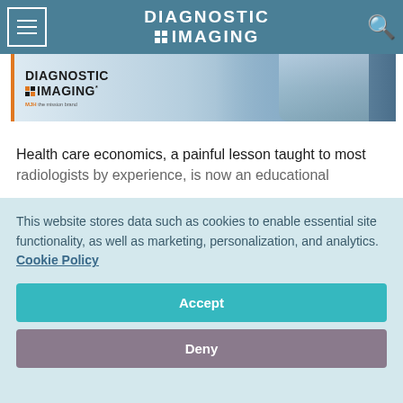Diagnostic Imaging
[Figure (screenshot): Diagnostic Imaging magazine banner advertisement with logo and person in background]
Health care economics, a painful lesson taught to most radiologists by experience, is now an educational mandate for
This website stores data such as cookies to enable essential site functionality, as well as marketing, personalization, and analytics. Cookie Policy
Accept
Deny